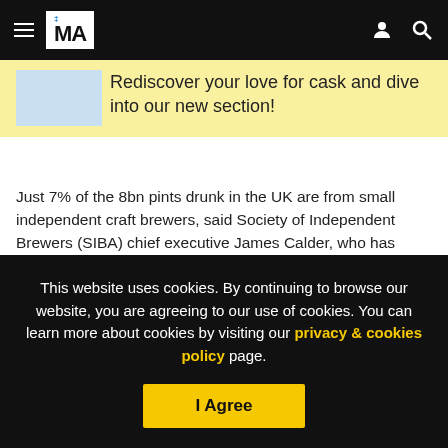THE MA — navigation header with hamburger menu, logo, user icon, and search icon
Rediscover your love for cask and dive into our new section!
Just 7% of the 8bn pints drunk in the UK are from small independent craft brewers, said Society of Independent Brewers (SIBA) chief executive James Calder, who has urged Chancellor Rishi Sunak help indies by changing the progressive beer duty (PBD) introduced in 2002.
This website uses cookies. By continuing to browse our website, you are agreeing to our use of cookies. You can learn more about cookies by visiting our privacy & cookies policy page.
I Agree